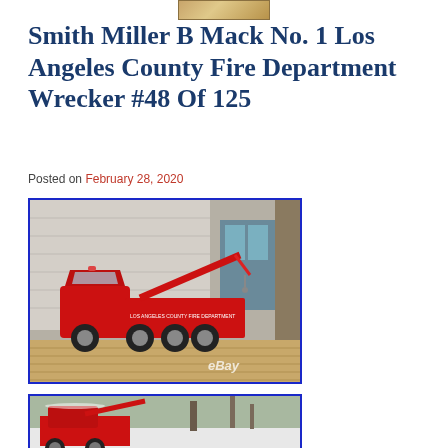[Figure (photo): Partial top image bar — wooden/tan colored rectangular image strip at top center]
Smith Miller B Mack No. 1 Los Angeles County Fire Department Wrecker #48 Of 125
Posted on February 28, 2020
[Figure (photo): Red Smith Miller B Mack Los Angeles County Fire Department wrecker toy truck #48 of 125, photographed on a wood deck/porch with a house in the background. eBay watermark in lower right. Blue border frame.]
[Figure (photo): Partial view of the same red wrecker truck in a snowy outdoor setting with trees visible. Blue border frame. Image is cropped at bottom of page.]